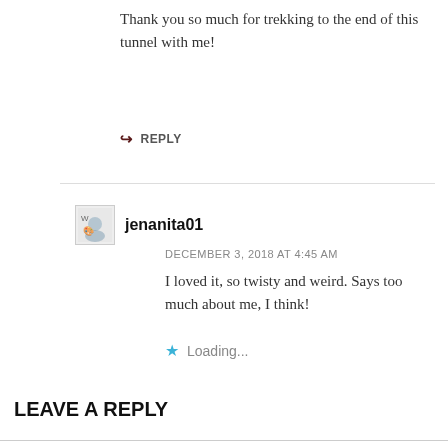Thank you so much for trekking to the end of this tunnel with me!
↳ REPLY
jenanita01
DECEMBER 3, 2018 AT 4:45 AM
I loved it, so twisty and weird. Says too much about me, I think!
Loading...
LEAVE A REPLY